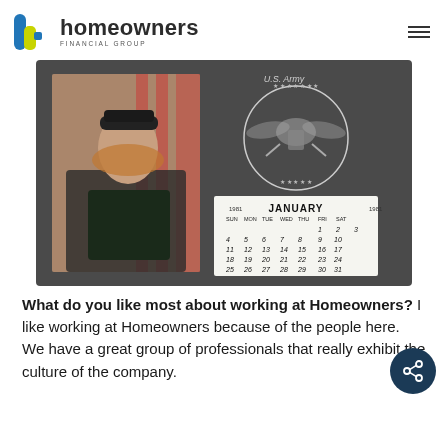homeowners FINANCIAL GROUP
[Figure (photo): A woman in U.S. Army uniform posing for an official portrait in front of an American flag, alongside a U.S. Army seal and a January 1981 mini calendar.]
What do you like most about working at Homeowners? I like working at Homeowners because of the people here. We have a great group of professionals that really exhibit the culture of the company.